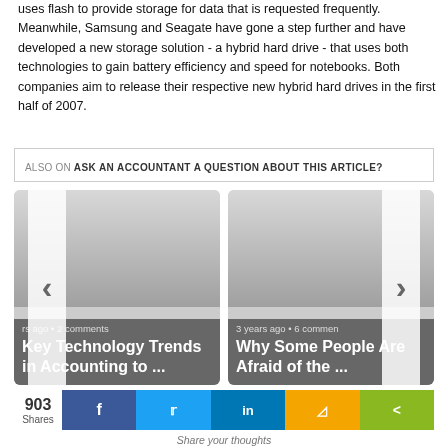uses flash to provide storage for data that is requested frequently. Meanwhile, Samsung and Seagate have gone a step further and have developed a new storage solution - a hybrid hard drive - that uses both technologies to gain battery efficiency and speed for notebooks. Both companies aim to release their respective new hybrid hard drives in the first half of 2007.
ALSO ON ASK AN ACCOUNTANT A QUESTION ABOUT THIS ARTICLE?
[Figure (screenshot): Two article cards side by side with navigation arrows. Left card: '... rs ago • 2 comments / Key Technology Trends in Accounting to ...'. Right card: '3 years ago • 6 commen... / Why Some People Are Afraid of the ...']
903 Shares — Share buttons: Facebook, Twitter, LinkedIn, Google+, Share